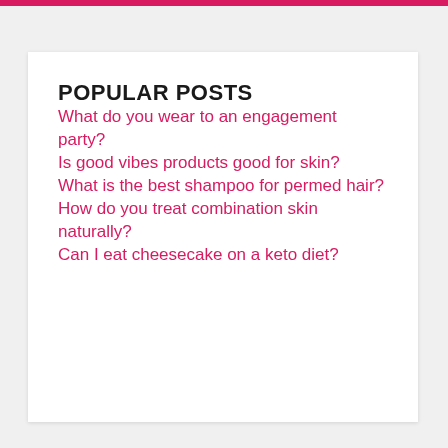POPULAR POSTS
What do you wear to an engagement party?
Is good vibes products good for skin?
What is the best shampoo for permed hair?
How do you treat combination skin naturally?
Can I eat cheesecake on a keto diet?